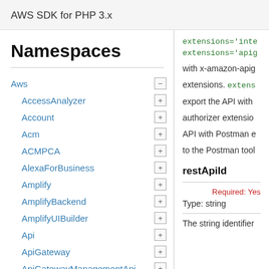AWS SDK for PHP 3.x
Namespaces
Aws
AccessAnalyzer
Account
Acm
ACMPCA
AlexaForBusiness
Amplify
AmplifyBackend
AmplifyUIBuilder
Api
ApiGateway
ApiGatewayManagementApi
extensions='inte
extensions='apig
with x-amazon-apig
extensions. extens
export the API with
authorizer extensio
API with Postman e
to the Postman tool
restApiId
Required: Yes
Type: string
The string identifier